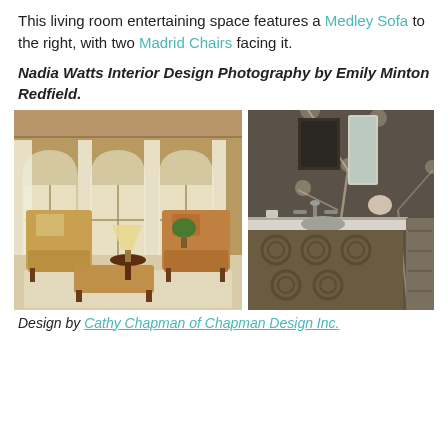This living room entertaining space features a Medley Sofa to the right, with two Madrid Chairs facing it.
Nadia Watts Interior Design Photography by Emily Minton Redfield.
[Figure (photo): Living room with two ornate armchairs with floral fabric and a footstool, arched windows with white drapes, a floor lamp, and a small side table on a beige rug.]
[Figure (photo): Bathroom with dark wood vanity with carved circular details, marble countertop, faucet, and decorative floral wallpaper with tree and bird motifs. A mirror and white flower arrangement visible.]
Design by Cathy Chapman of Chapman Design Inc.